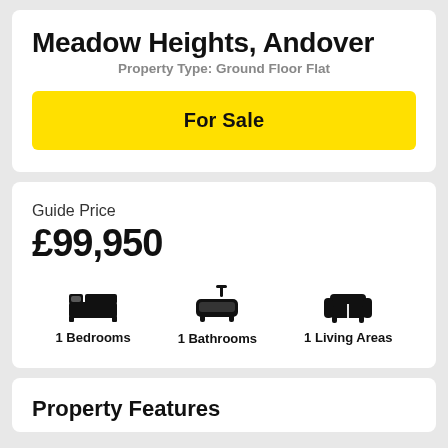Meadow Heights, Andover
Property Type: Ground Floor Flat
For Sale
Guide Price
£99,950
1 Bedrooms
1 Bathrooms
1 Living Areas
Property Features